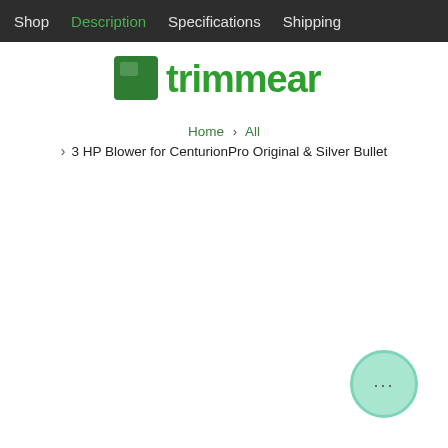Shop  Description  Specifications  Shipping
[Figure (logo): Trimmear brand logo in green text on white background]
Home > All > 3 HP Blower for CenturionPro Original & Silver Bullet